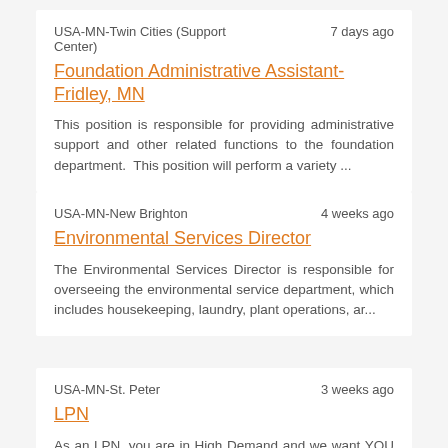USA-MN-Twin Cities (Support Center)
7 days ago
Foundation Administrative Assistant- Fridley, MN
This position is responsible for providing administrative support and other related functions to the foundation department.  This position will perform a variety ...
USA-MN-New Brighton
4 weeks ago
Environmental Services Director
The Environmental Services Director is responsible for overseeing the environmental service department, which includes housekeeping, laundry, plant operations, ar...
USA-MN-St. Peter
3 weeks ago
LPN
As an LPN, you are in High Demand and we want YOU to join